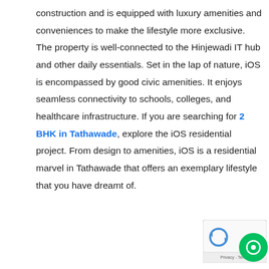construction and is equipped with luxury amenities and conveniences to make the lifestyle more exclusive. The property is well-connected to the Hinjewadi IT hub and other daily essentials. Set in the lap of nature, iOS is encompassed by good civic amenities. It enjoys seamless connectivity to schools, colleges, and healthcare infrastructure. If you are searching for 2 BHK in Tathawade, explore the iOS residential project. From design to amenities, iOS is a residential marvel in Tathawade that offers an exemplary lifestyle that you have dreamt of.
[Figure (other): reCAPTCHA verification badge with Google logo and privacy/terms text, partially overlapping with a green chat button circle]